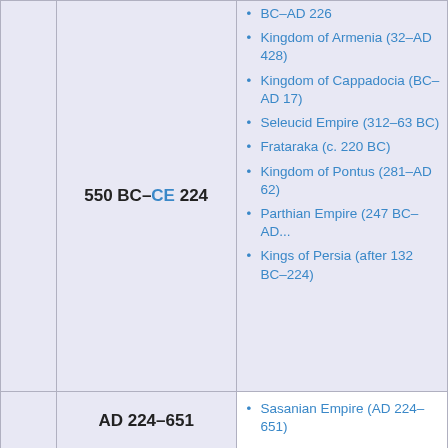|  | Date | Contemporary states/entities |
| --- | --- | --- |
|  | 550 BC–CE 224 | BC–AD 226
Kingdom of Armenia (32–AD 428)
Kingdom of Cappadocia (BC–AD 17)
Seleucid Empire (312–63 BC)
Frataraka (c. 220 BC)
Kingdom of Pontus (281–AD 62)
Parthian Empire (247 BC–AD...)
Kings of Persia (after 132 BC–224) |
|  | AD 224–651 | Sasanian Empire (AD 224–651) |